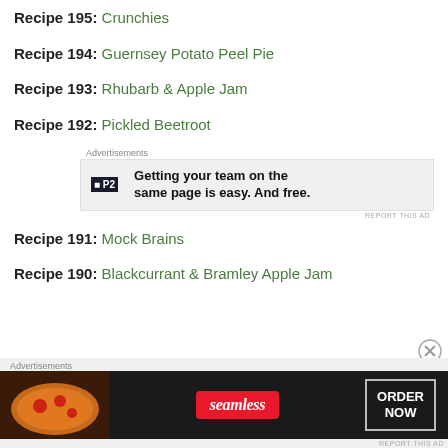Recipe 195: Crunchies
Recipe 194: Guernsey Potato Peel Pie
Recipe 193: Rhubarb & Apple Jam
Recipe 192: Pickled Beetroot
[Figure (other): P2 advertisement: Getting your team on the same page is easy. And free.]
Recipe 191: Mock Brains
Recipe 190: Blackcurrant & Bramley Apple Jam
[Figure (other): Seamless advertisement: ORDER NOW]